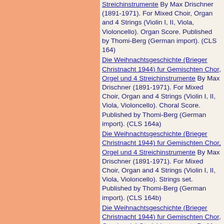Streichinstrumente By Max Drischner (1891-1971). For Mixed Choir, Organ and 4 Strings (Violin I, II, Viola, Violoncello). Organ Score. Published by Thomi-Berg (German import). (CLS 164)
Die Weihnachtsgeschichte (Brieger Christnacht 1944) fur Gemischten Chor, Orgel und 4 Streichinstrumente By Max Drischner (1891-1971). For Mixed Choir, Organ and 4 Strings (Violin I, II, Viola, Violoncello). Choral Score. Published by Thomi-Berg (German import). (CLS 164a)
Die Weihnachtsgeschichte (Brieger Christnacht 1944) fur Gemischten Chor, Orgel und 4 Streichinstrumente By Max Drischner (1891-1971). For Mixed Choir, Organ and 4 Strings (Violin I, II, Viola, Violoncello). Strings set. Published by Thomi-Berg (German import). (CLS 164b)
Die Weihnachtsgeschichte (Brieger Christnacht 1944) fur Gemischten Chor, Orgel und 4 Streichinstrumente By Max Drischner (1891-1971). For Mixed Choir, Organ and 4 Strings (Violin I, II, Viola, Violoncello). Evangelist